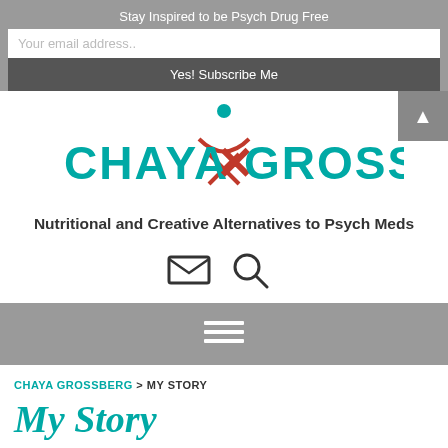Stay Inspired to be Psych Drug Free
Your email address..
Yes! Subscribe Me
[Figure (logo): Chaya Grossberg logo with teal text and red/orange person figure above the 'A' in CHAYA]
Nutritional and Creative Alternatives to Psych Meds
[Figure (infographic): Email envelope icon and search magnifying glass icon]
[Figure (infographic): Hamburger menu icon (three horizontal lines)]
CHAYA GROSSBERG > MY STORY
My Story